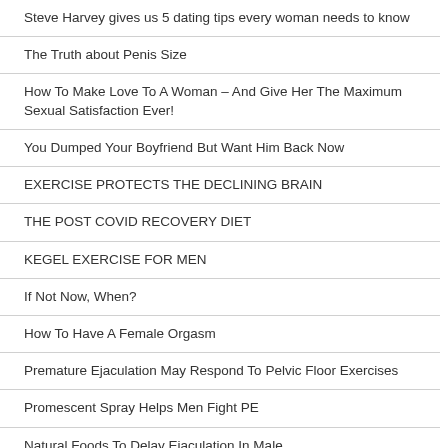Steve Harvey gives us 5 dating tips every woman needs to know
The Truth about Penis Size
How To Make Love To A Woman – And Give Her The Maximum Sexual Satisfaction Ever!
You Dumped Your Boyfriend But Want Him Back Now
EXERCISE PROTECTS THE DECLINING BRAIN
THE POST COVID RECOVERY DIET
KEGEL EXERCISE FOR MEN
If Not Now, When?
How To Have A Female Orgasm
Premature Ejaculation May Respond To Pelvic Floor Exercises
Promescent Spray Helps Men Fight PE
Natural Foods To Delay Ejaculation In Male
Premature Ejaculation – Delay Tips & Tricks For Men